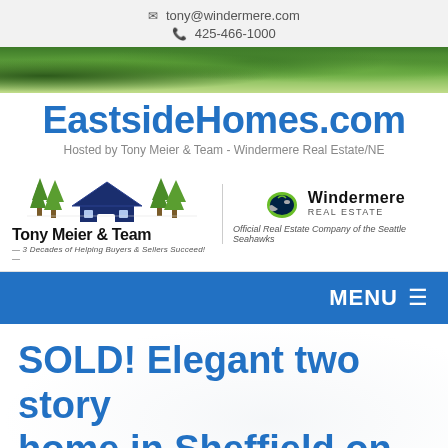tony@windermere.com
425-466-1000
[Figure (photo): Banner photo of green trees/foliage]
EastsideHomes.com
Hosted by Tony Meier & Team - Windermere Real Estate/NE
[Figure (logo): Tony Meier & Team logo with house and trees graphic, tagline: 3 Decades of Helping Buyers & Sellers Succeed! Seahawks logo and Windermere Real Estate logo - Official Real Estate Company of the Seattle Seahawks]
MENU ☰
SOLD! Elegant two story home in Sheffield on English Hill in Redmond...